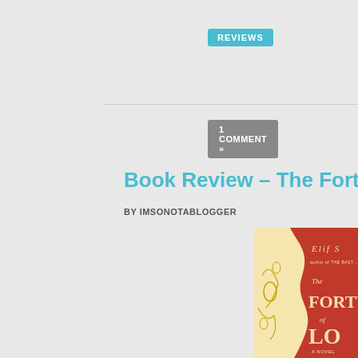REVIEWS
1 COMMENT »
Book Review – The Forty Ru
BY IMSONOTABLOGGER
JUN 24
[Figure (photo): Book cover of The Forty Rules of Love by Elif Shafak, showing a red and cream/yellow ornate floral design cover with the title text partially visible]